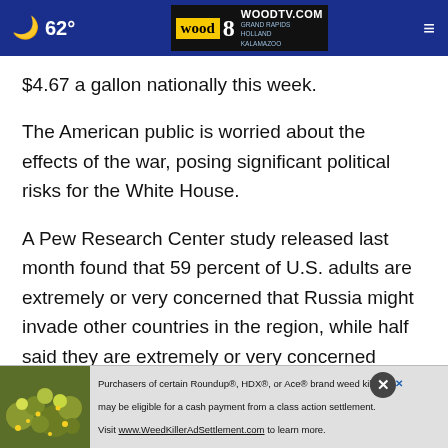62° WOODTV.COM WOOD 8 GRAND RAPIDS HOLLAND KALAMAZOO
$4.67 a gallon nationally this week.
The American public is worried about the effects of the war, posing significant political risks for the White House.
A Pew Research Center study released last month found that 59 percent of U.S. adults are extremely or very concerned that Russia might invade other countries in the region, while half said they are extremely or very concerned about the prospect of the U.S. and NATO support for Ukraine leading to war betwe...
[Figure (screenshot): Advertisement banner for Roundup, HDX, or Ace brand weed killer class action settlement. Visit www.WeedKillerAdSettlement.com to learn more.]